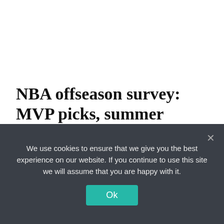NBA offseason survey: MVP picks, summer winners and losers and title favorites
[Figure (photo): Close-up of a white golf ball with an American flag design on green grass background]
We use cookies to ensure that we give you the best experience on our website. If you continue to use this site we will assume that you are happy with it.
Ok